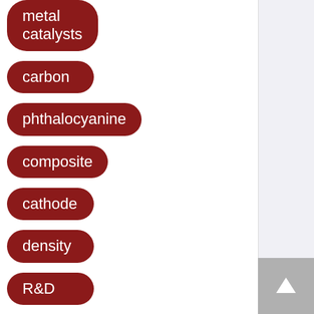metal catalysts
carbon
phthalocyanine
composite
cathode
density
R&D
takeover risk
risk premium
lithium
[Figure (other): Up/scroll-to-top button (arrow icon) in grey square at bottom right]